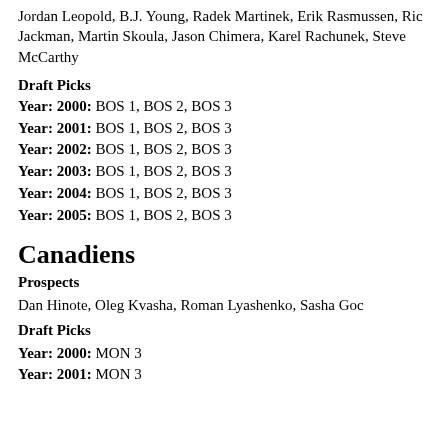Jordan Leopold, B.J. Young, Radek Martinek, Erik Rasmussen, Ric Jackman, Martin Skoula, Jason Chimera, Karel Rachunek, Steve McCarthy
Draft Picks
Year: 2000: BOS 1, BOS 2, BOS 3
Year: 2001: BOS 1, BOS 2, BOS 3
Year: 2002: BOS 1, BOS 2, BOS 3
Year: 2003: BOS 1, BOS 2, BOS 3
Year: 2004: BOS 1, BOS 2, BOS 3
Year: 2005: BOS 1, BOS 2, BOS 3
Canadiens
Prospects
Dan Hinote, Oleg Kvasha, Roman Lyashenko, Sasha Goc
Draft Picks
Year: 2000: MON 3
Year: 2001: MON 3